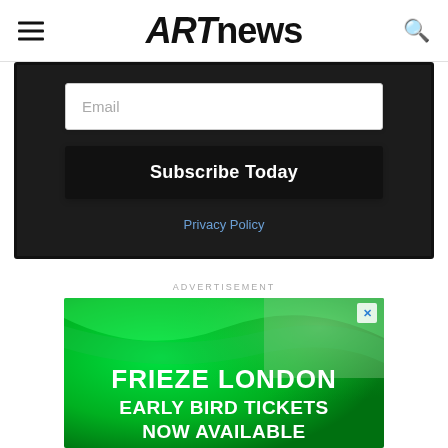ARTnews
[Figure (screenshot): Email subscription form with input field, Subscribe Today button, and Privacy Policy link on dark background]
ADVERTISEMENT
[Figure (infographic): Green gradient advertisement banner for Frieze London Early Bird Tickets Now Available with close button]